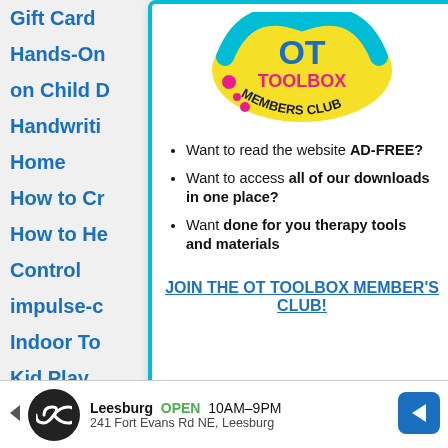Gift Card
Hands-On
on Child D
Handwriti
Home
How to Cr
How to He
Control
impulse-c
Indoor To
Kid Play
Kid's Party Themes
Kin
[Figure (logo): OT Toolbox Members Club circular logo with blue, yellow, and pink colors]
Want to read the website AD-FREE?
Want to access all of our downloads in one place?
Want done for you therapy tools and materials
JOIN THE OT TOOLBOX MEMBER'S CLUB!
[Figure (infographic): Google Maps ad for Leesburg location, OPEN 10AM-9PM, 241 Fort Evans Rd NE, Leesburg]